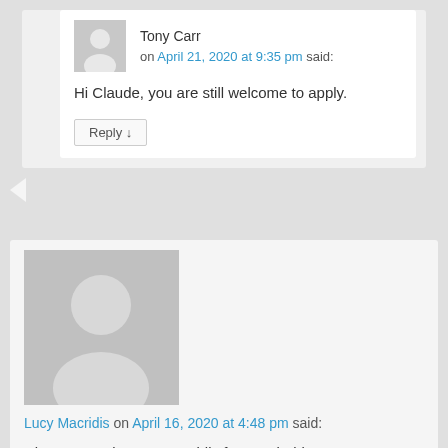Tony Carr on April 21, 2020 at 9:35 pm said:
Hi Claude, you are still welcome to apply.
Reply ↓
Lucy Macridis on April 16, 2020 at 4:48 pm said:
Hi, my name is Lucy Macridis from Nairobi Kenya. I am interested in the online facilitation of courses. This will help me in my mandate as Mentorship and Training Chairlady of the Kenya Association of Tourism, where we deliver physical sessions on